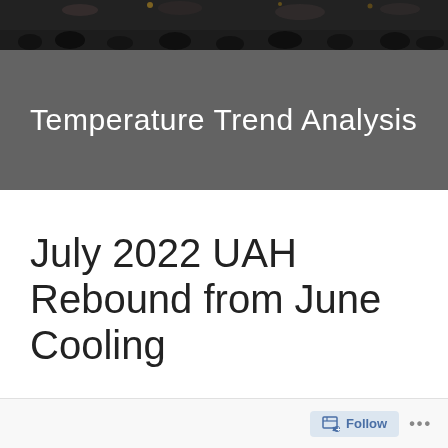[Figure (photo): Dark crowd/event photo at the top of the banner]
Temperature Trend Analysis
July 2022 UAH Rebound from June Cooling
Follow ...